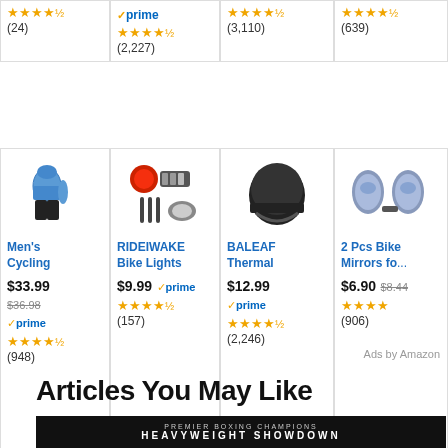[Figure (screenshot): Amazon product ad card top row - item 1: 4.5 stars, (24) reviews]
[Figure (screenshot): Amazon product ad card top row - item 2: Prime badge, 4.5 stars, (2,227) reviews]
[Figure (screenshot): Amazon product ad card top row - item 3: 4.5 stars, (3,110) reviews]
[Figure (screenshot): Amazon product ad card top row - item 4: 4.5 stars, (639) reviews]
[Figure (screenshot): Amazon product ad - Men's Cycling set image]
Men's Cycling
$33.99, $36.98 (strikethrough), Prime, 4.5 stars (948)
[Figure (screenshot): Amazon product ad - RIDEIWAKE Bike Lights image]
RIDEIWAKE Bike Lights
$9.99 Prime, 4.5 stars (157)
[Figure (screenshot): Amazon product ad - BALEAF Thermal helmet image]
BALEAF Thermal
$12.99 Prime, 4.5 stars (2,246)
[Figure (screenshot): Amazon product ad - 2 Pcs Bike Mirrors image]
2 Pcs Bike Mirrors fo...
$6.90 $8.44, 4 stars (906)
Ads by Amazon
Articles You May Like
[Figure (screenshot): Premier Boxing Champions - Heavyweight Showdown promotional image, dark background with text]